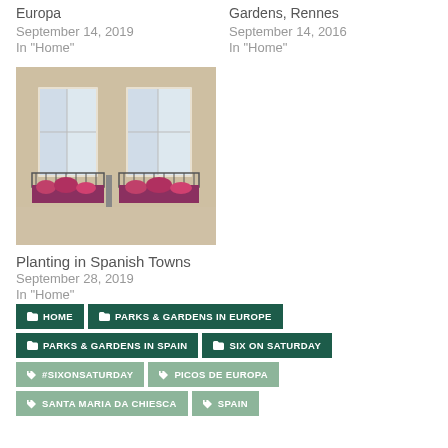Europa
September 14, 2019
In "Home"
Gardens, Rennes
September 14, 2016
In "Home"
[Figure (photo): Building facade with two white French windows with wrought iron balconies and pink/red flowering plants in window boxes]
Planting in Spanish Towns
September 28, 2019
In "Home"
HOME
PARKS & GARDENS IN EUROPE
PARKS & GARDENS IN SPAIN
SIX ON SATURDAY
#SIXONSATURDAY
PICOS DE EUROPA
SANTA MARIA DA CHIESCA
SPAIN